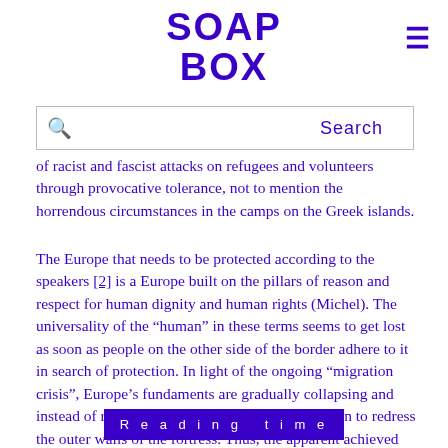SOAP BOX
of racist and fascist attacks on refugees and volunteers through provocative tolerance, not to mention the horrendous circumstances in the camps on the Greek islands.
The Europe that needs to be protected according to the speakers [2] is a Europe built on the pillars of reason and respect for human dignity and human rights (Michel). The universality of the “human” in these terms seems to get lost as soon as people on the other side of the border adhere to it in search of protection. In light of the ongoing “migration crisis”, Europe’s fundaments are gradually collapsing and instead of rebuilding these, the political forces turn to redress the outer walls of the fortress. Thus, the apparent achieved unity is solely linked to the protection of the borders from outer threat. By positioning itself as a victim of Turkey’s power play, the EU seeks to legitimise the violent protection of its external bo... ...ile.
Reading time